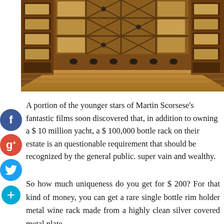[Figure (photo): Interior of a wooden wine cellar with diamond-pattern bottle racks and wooden box storage on the sides, warm amber lighting on hardwood floor.]
A portion of the younger stars of Martin Scorsese's fantastic films soon discovered that, in addition to owning a $ 10 million yacht, a $ 100,000 bottle rack on their estate is an questionable requirement that should be recognized by the general public. super vain and wealthy.
So how much uniqueness do you get for $ 200? For that kind of money, you can get a rare single bottle rim holder metal wine rack made from a highly clean silver covered metal plate,